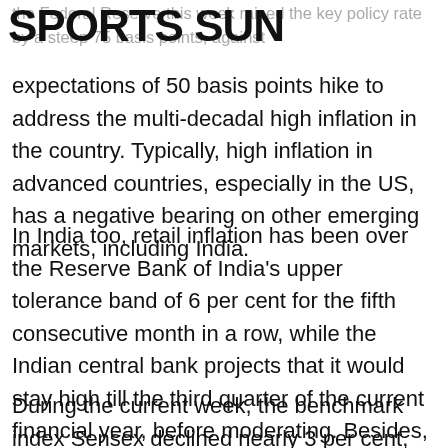SPORTS SUN
the Federal Reserve this week raised the key policy rate by a steep 75 basis points, against expectations of 50 basis points hike to address the multi-decadal high inflation in the country. Typically, high inflation in advanced countries, especially in the US, has a negative bearing on other emerging markets, including India.
In India too, retail inflation has been over the Reserve Bank of India's upper tolerance band of 6 per cent for the fifth consecutive month in a row, while the Indian central bank projects that it would stay high till the third quarter of the current financial year, before moderating. Besides, domestic wholesale inflation has been in double-digit for over a year now.
During the current week, the benchmark index Sensex declined nearly 3 per cent, while it lost over 13 per cent since the start of 2022.